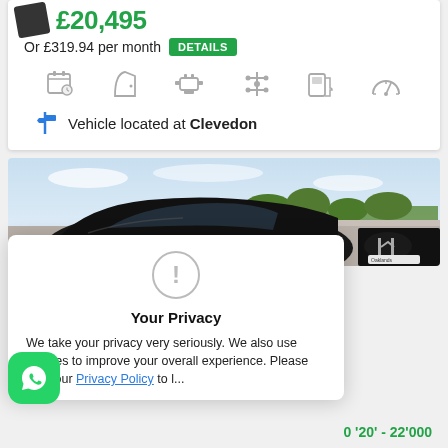£20,495
Or £319.94 per month
DETAILS
[Figure (illustration): Row of car listing icons: calendar/year, door/body style, engine, transmission, fuel type, speedometer/mileage]
Vehicle located at Clevedon
[Figure (photo): Photo of a black Honda car parked outdoors with blue sky and trees in background, Oaklands dealer badge visible]
Your Privacy
We take your privacy very seriously. We also use cookies to improve your overall experience. Please read our Privacy Policy to l...
0 '20' - 22'000